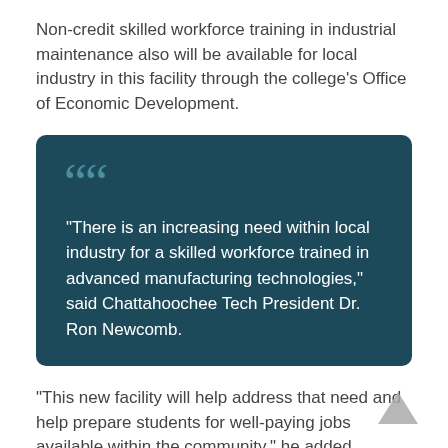Non-credit skilled workforce training in industrial maintenance also will be available for local industry in this facility through the college's Office of Economic Development.
“There is an increasing need within local industry for a skilled workforce trained in advanced manufacturing technologies,” said Chattahoochee Tech President Dr. Ron Newcomb.
“This new facility will help address that need and help prepare students for well-paying jobs available within the community,” he added.
A Unit of the Technical College System of Georgia, CTC is the largest technical college in the state, with